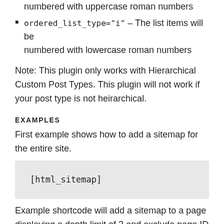ordered_list_type="I" – The list items will be numbered with uppercase roman numbers
ordered_list_type="i" – The list items will be numbered with lowercase roman numbers
Note: This plugin only works with Hierarchical Custom Post Types. This plugin will not work if your post type is not heirarchical.
EXAMPLES
First example shows how to add a sitemap for the entire site.
[html_sitemap]
Example shortcode will add a sitemap to a page displaying a depth limit of 3 and exclude page ID 708.